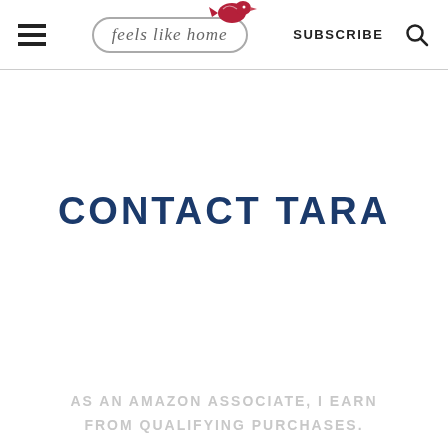feels like home | SUBSCRIBE
CONTACT TARA
AS AN AMAZON ASSOCIATE, I EARN FROM QUALIFYING PURCHASES.